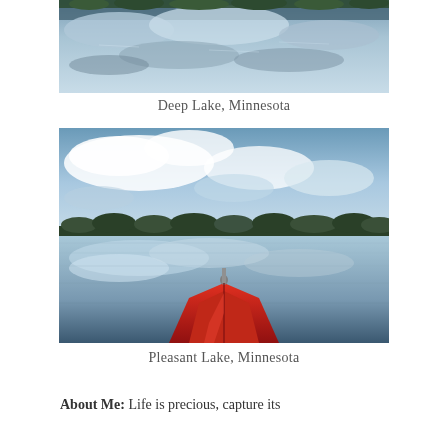[Figure (photo): Aerial or reflected view of a lake showing clouds reflected in still water with trees at the edge — Deep Lake, Minnesota]
Deep Lake, Minnesota
[Figure (photo): View from the bow of a red kayak on a calm lake with dramatic cloud reflections on the water and green tree line — Pleasant Lake, Minnesota]
Pleasant Lake, Minnesota
About Me: Life is precious, capture its